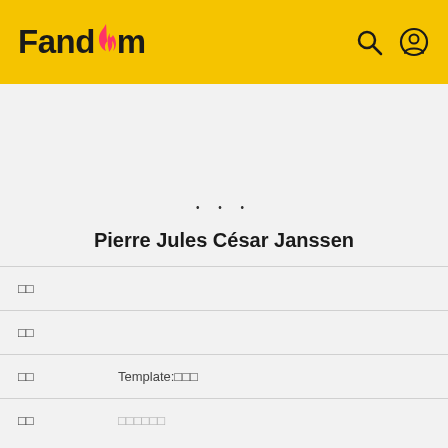Fandom
• • •
Pierre Jules César Janssen
|  |  |
| --- | --- |
| □□ |  |
| □□ |  |
| □□ | Template:□□□ |
| □□ | □□□□□□ |